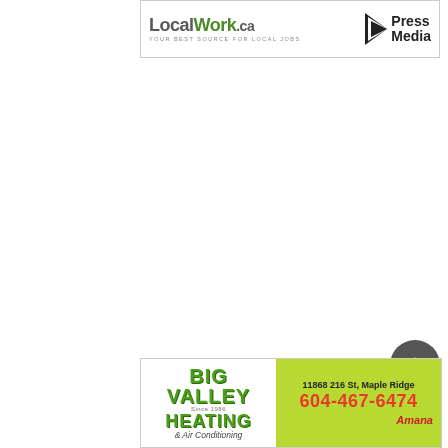[Figure (logo): LocalWork.ca logo with tagline 'YOUR BEST SOURCE FOR LOCAL JOBS' and Press Media logo on the right side, inside a bordered banner ad]
[Figure (logo): Big Valley Heating & Air Conditioning advertisement banner with address 11868 216 St, Maple Ridge and phone 604-467-6474, green logo on white left panel and yellow-green right panel with Amana logo]